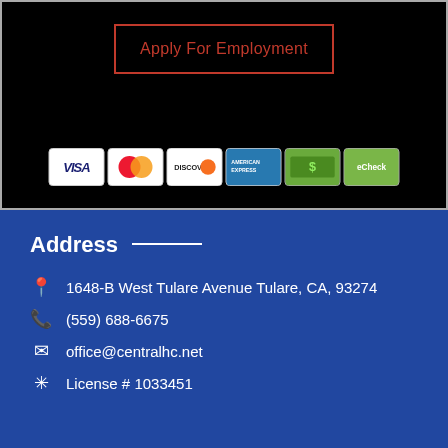Apply For Employment
[Figure (other): Payment method icons: Visa, Mastercard, Discover, American Express, Cash, eCheck]
Address
1648-B West Tulare Avenue Tulare, CA, 93274
(559) 688-6675
office@centralhc.net
License # 1033451